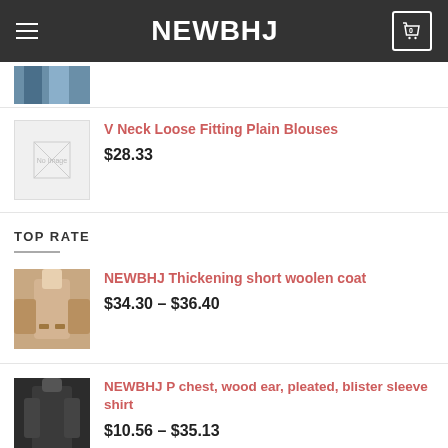NEWBHJ
[Figure (photo): Partial product thumbnail showing bottom of jeans/legs]
V Neck Loose Fitting Plain Blouses $28.33
TOP RATE
NEWBHJ Thickening short woolen coat $34.30 – $36.40
NEWBHJ P chest, wood ear, pleated, blister sleeve shirt $10.56 – $35.13
Fashion Sweet Print Dress